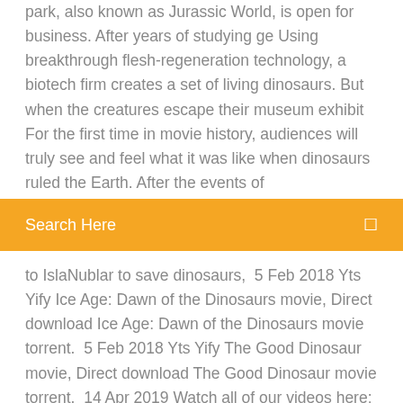park, also known as Jurassic World, is open for business. After years of studying ge Using breakthrough flesh-regeneration technology, a biotech firm creates a set of living dinosaurs. But when the creatures escape their museum exhibit For the first time in movie history, audiences will truly see and feel what it was like when dinosaurs ruled the Earth. After the events of
Search Here
to IslaNublar to save dinosaurs,  5 Feb 2018 Yts Yify Ice Age: Dawn of the Dinosaurs movie, Direct download Ice Age: Dawn of the Dinosaurs movie torrent.  5 Feb 2018 Yts Yify The Good Dinosaur movie, Direct download The Good Dinosaur movie torrent.  14 Apr 2019 Watch all of our videos here: https://www.youtube.com/watch?v=aCMtP50I9Jc&list=PLPDAl2vFyl1ooBXNImV__FngQfGzR2y8v&ind 1 May 2013 Walking With Dinosaurs 3D Official Trailer #1 (2013) - CGI Movie HD. Movieclips Trailers. Loading Unsubscribe from